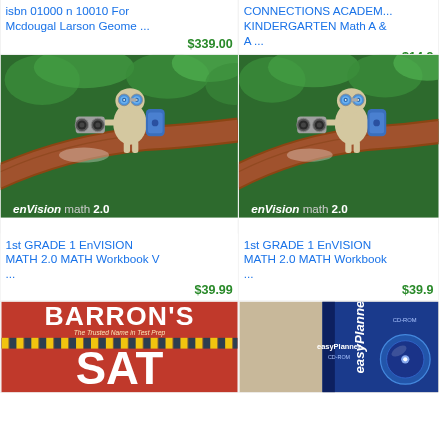Mcdougal Larson Geome ...
$339.00
CONNECTIONS ACADEM... KINDERGARTEN Math A & A ...
$14.9
[Figure (photo): enVisionmath 2.0 textbook cover showing animated creature on tree branch]
[Figure (photo): enVisionmath 2.0 textbook cover showing animated creature on tree branch (second copy)]
1st GRADE 1 EnVISION MATH 2.0 MATH Workbook V ...
$39.99
1st GRADE 1 EnVISION MATH 2.0 MATH Workbook ...
$39.9
[Figure (photo): Barron's SAT Subject Test book cover with red background, yellow/black striped band, large SAT text]
[Figure (photo): easyPlanner CD-ROM product with blue packaging]